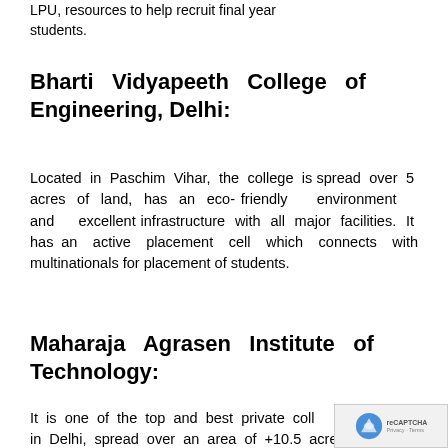LPU, resources to help recruit final year students.
Bharti Vidyapeeth College of Engineering, Delhi:
Located in Paschim Vihar, the college is spread over 5 acres of land, has an eco-friendly environment and excellent infrastructure with all major facilities. It has an active placement cell which connects with multinationals for placement of students.
Maharaja Agrasen Institute of Technology:
It is one of the top and best private colleges in Delhi, spread over an area of +10.5 acres...